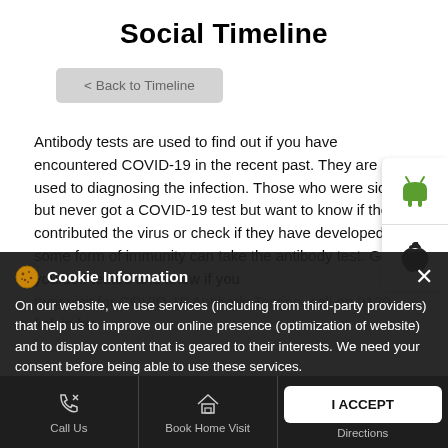Social Timeline
< Back to Timeline
Antibody tests are used to find out if you have encountered COVID-19 in the recent past. They are not used to diagnosing the infection. Those who were sick but never got a COVID-19 test but want to know if they contributed the virus or check if they have developed some form of immunity can take the antibody test. Get yourself tested and know if you... their visit for COVID-19 Antibody Testing, call on 0120... link in bio.
Cookie Information
On our website, we use services (including from third-party providers) that help us to improve our online presence (optimization of website) and to display content that is geared to their interests. We need your consent before being able to use these services.
I ACCEPT
Call Us
Book Home Visit
Directions